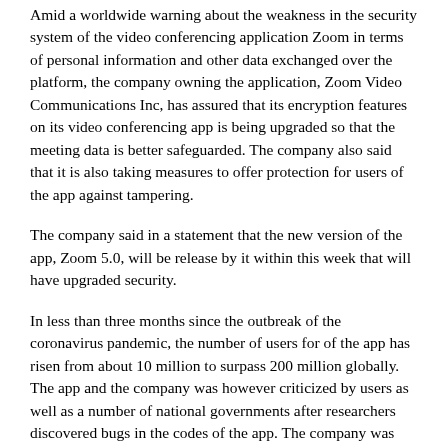Amid a worldwide warning about the weakness in the security system of the video conferencing application Zoom in terms of personal information and other data exchanged over the platform, the company owning the application, Zoom Video Communications Inc, has assured that its encryption features on its video conferencing app is being upgraded so that the meeting data is better safeguarded. The company also said that it is also taking measures to offer protection for users of the app against tampering.
The company said in a statement that the new version of the app, Zoom 5.0, will be release by it within this week that will have upgraded security.
In less than three months since the outbreak of the coronavirus pandemic, the number of users for of the app has risen from about 10 million to surpass 200 million globally. The app and the company was however criticized by users as well as a number of national governments after researchers discovered bugs in the codes of the app. The company was criticized of having failed to disclose to its users that there was no end-to-end encryption in its services.
A number of several companies, schools and governments were forced to stop using the platform after there were discovery of a issue with the app, in what has been called "Zoombombing"